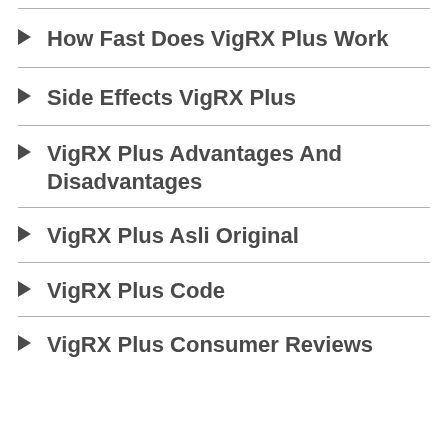How Fast Does VigRX Plus Work
Side Effects VigRX Plus
VigRX Plus Advantages And Disadvantages
VigRX Plus Asli Original
VigRX Plus Code
VigRX Plus Consumer Reviews